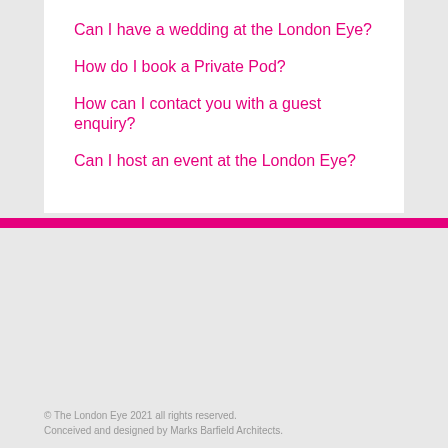Can I have a wedding at the London Eye?
How do I book a Private Pod?
How can I contact you with a guest enquiry?
Can I host an event at the London Eye?
© The London Eye 2021 all rights reserved.
Conceived and designed by Marks Barfield Architects.